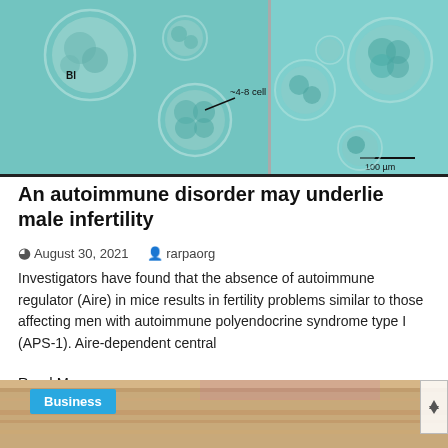[Figure (photo): Microscopy image showing embryos at various cell stages (blastocyst labeled 'Bl' and ~4-8 cell stage) against a teal background, split into two panels. Scale bar shows 100 µm.]
An autoimmune disorder may underlie male infertility
August 30, 2021   rarpaorg
Investigators have found that the absence of autoimmune regulator (Aire) in mice results in fertility problems similar to those affecting men with autoimmune polyendocrine syndrome type I (APS-1). Aire-dependent central
Read More
[Figure (photo): Partial photo of a wooden surface/table with a Business category badge in teal/blue color in the top left corner, and a scroll arrow button at right edge.]